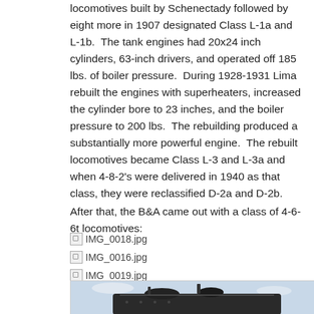locomotives built by Schenectady followed by eight more in 1907 designated Class L-1a and L-1b. The tank engines had 20x24 inch cylinders, 63-inch drivers, and operated off 185 lbs. of boiler pressure. During 1928-1931 Lima rebuilt the engines with superheaters, increased the cylinder bore to 23 inches, and the boiler pressure to 200 lbs. The rebuilding produced a substantially more powerful engine. The rebuilt locomotives became Class L-3 and L-3a and when 4-8-2's were delivered in 1940 as that class, they were reclassified D-2a and D-2b.
After that, the B&A came out with a class of 4-6-6t locomotives:
[Figure (photo): Broken image placeholder: IMG_0018.jpg]
[Figure (photo): Broken image placeholder: IMG_0016.jpg]
[Figure (photo): Broken image placeholder: IMG_0019.jpg]
[Figure (photo): Photograph of a steam locomotive, top portion visible showing boiler and cab details against a light sky background.]